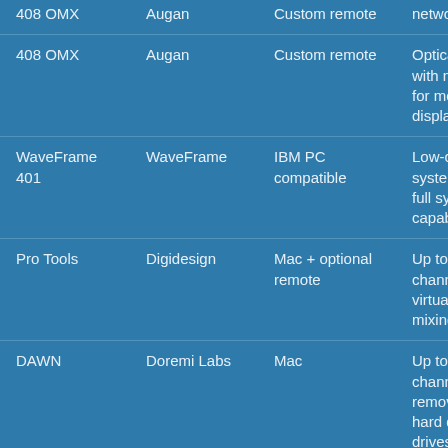| Product | Manufacturer | Platform | Description |
| --- | --- | --- | --- |
| 408 OMX | Augan | Custom remote | Optical-b... with mon... for more display |
| WaveFrame 401 | WaveFrame | IBM PC compatible | Low-cost system w... full sync capabiliti... |
| Pro Tools | Digidesign | Mac + optional remote | Up to 16 channels, virtual tr... mixing/E... |
| DAWN | Doremi Labs | Mac | Up to 24 channels removabl... hard disk drives |
| Audio Engine | Spectral Synthesis | IBM PC | Up to 16... |